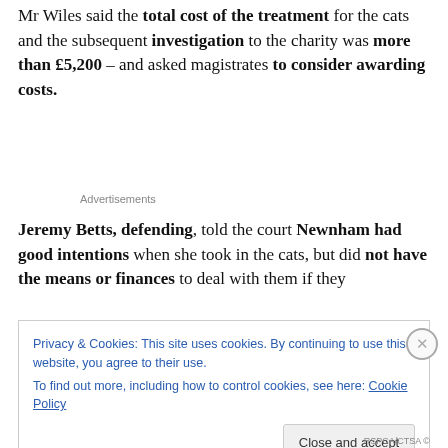Mr Wiles said the total cost of the treatment for the cats and the subsequent investigation to the charity was more than £5,200 – and asked magistrates to consider awarding costs.
Advertisements
Jeremy Betts, defending, told the court Newnham had good intentions when she took in the cats, but did not have the means or finances to deal with them if they
Privacy & Cookies: This site uses cookies. By continuing to use this website, you agree to their use.
To find out more, including how to control cookies, see here: Cookie Policy
Close and accept